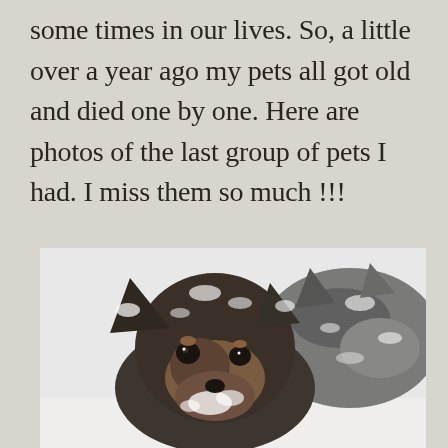some times in our lives. So, a little over a year ago my pets all got old and died one by one. Here are photos of the last group of pets I had. I miss them so much !!!
[Figure (photo): Two dogs covered in snow, appearing to be Australian Cattle Dogs or similar breed, with dark grey and tan coloring. The closer dog faces the camera with snow on its muzzle and ears. The photo has a white/snowy background.]